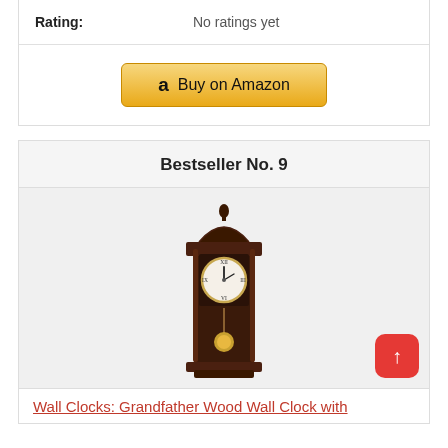| Rating: | No ratings yet |
Buy on Amazon
Bestseller No. 9
[Figure (photo): Grandfather wood wall clock with pendulum, dark cherry wood finish, shown full-length]
Wall Clocks: Grandfather Wood Wall Clock with